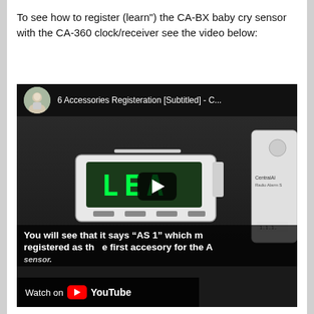To see how to register (learn") the CA-BX baby cry sensor with the CA-360 clock/receiver see the video below:
[Figure (screenshot): YouTube video thumbnail showing a CA-360 clock/receiver device with green LED display reading 'LEA', a circular avatar of a person in top-left, video title '6 Accessories Registeration [Subtitled] - C...', a play button overlay, subtitle text 'You will see that it says "AS 1" which m registered as the first accesory for the A sensor.', and a Watch on YouTube bar at bottom left.]